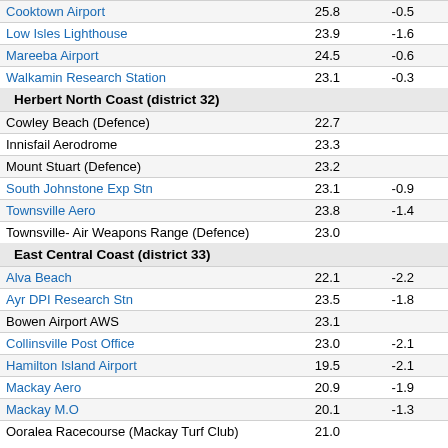| Station | Col1 | Col2 | Col3 | Col4 |
| --- | --- | --- | --- | --- |
| Cooktown Airport | 25.8 | -0.5 | 27.9 |  |
| Low Isles Lighthouse | 23.9 | -1.6 | 26.2 |  |
| Mareeba Airport | 24.5 | -0.6 | 27.8 |  |
| Walkamin Research Station | 23.1 | -0.3 | 25.6 |  |
| Herbert North Coast (district 32) |  |  |  |  |
| Cowley Beach (Defence) | 22.7 |  | 24.9 |  |
| Innisfail Aerodrome | 23.3 |  | 25.5 |  |
| Mount Stuart (Defence) | 23.2 |  | 26.6 |  |
| South Johnstone Exp Stn | 23.1 | -0.9 | 26.5 |  |
| Townsville Aero | 23.8 | -1.4 | 27.1 |  |
| Townsville- Air Weapons Range (Defence) | 23.0 |  | 26.5 |  |
| East Central Coast (district 33) |  |  |  |  |
| Alva Beach | 22.1 | -2.2 | 24.9 |  |
| Ayr DPI Research Stn | 23.5 | -1.8 | 26.9 |  |
| Bowen Airport AWS | 23.1 |  | 26.4 |  |
| Collinsville Post Office | 23.0 | -2.1 | 26.6 |  |
| Hamilton Island Airport | 19.5 | -2.1 | 22.2 |  |
| Mackay Aero | 20.9 | -1.9 | 23.7 |  |
| Mackay M.O | 20.1 | -1.3 | 22.5 |  |
| Ooralea Racecourse (Mackay Turf Club) | 21.0 |  | 24.4 |  |